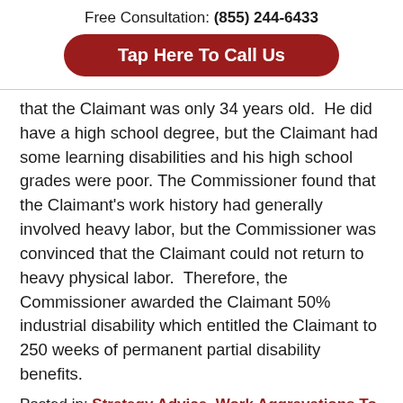Free Consultation: (855) 244-6433
Tap Here To Call Us
that the Claimant was only 34 years old.  He did have a high school degree, but the Claimant had some learning disabilities and his high school grades were poor. The Commissioner found that the Claimant's work history had generally involved heavy labor, but the Commissioner was convinced that the Claimant could not return to heavy physical labor.  Therefore, the Commissioner awarded the Claimant 50% industrial disability which entitled the Claimant to 250 weeks of permanent partial disability benefits.
Posted in: Strategy Advice, Work Aggravations To Pre-